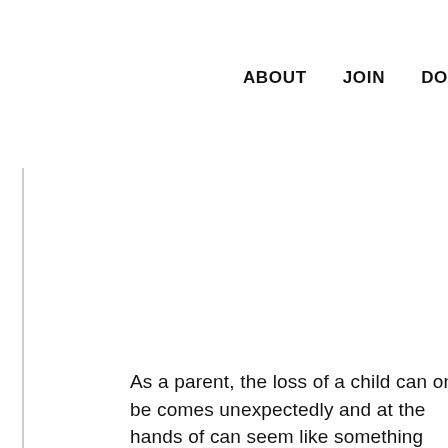ABOUT   JOIN   DO
As a parent, the loss of a child can only be comes unexpectedly and at the hands of can seem like something straight out of a